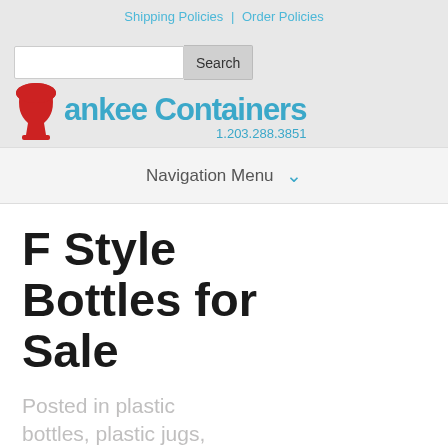Shipping Policies | Order Policies
[Figure (logo): Yankee Containers logo with red goblet icon and blue text, phone number 1.203.288.3851]
Search
Navigation Menu
F Style Bottles for Sale
Posted in plastic bottles, plastic jugs, tin cans